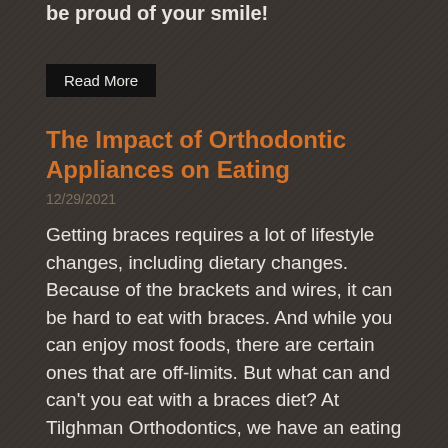correct, and how Dr. Tilghman can help you be proud of your smile!
Read More
The Impact of Orthodontic Appliances on Eating
12/29/2021
Getting braces requires a lot of lifestyle changes, including dietary changes. Because of the brackets and wires, it can be hard to eat with braces. And while you can enjoy most foods, there are certain ones that are off-limits. But what can and can't you eat with a braces diet? At Tilghman Orthodontics, we have an eating guide to help you daily when picking food choices. Many of our patients can struggle to